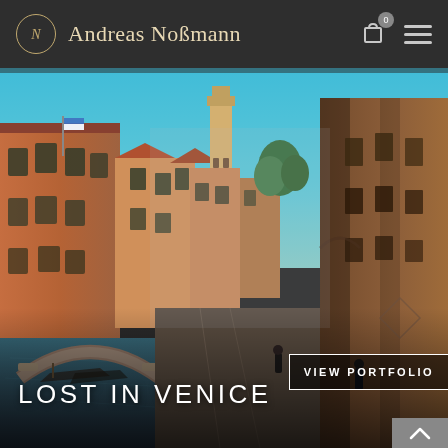Andreas Noßmann
[Figure (photo): A picturesque Venice canal street scene showing historic terracotta and ochre buildings lining a narrow canal, a stone arch bridge, a tall bell tower in the background under a bright blue sky, and pedestrians walking along the footpath.]
LOST IN VENICE
VIEW PORTFOLIO